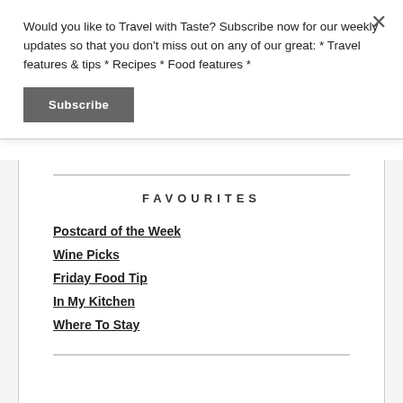Would you like to Travel with Taste? Subscribe now for our weekly updates so that you don't miss out on any of our great: * Travel features & tips * Recipes * Food features *
Subscribe
FAVOURITES
Postcard of the Week
Wine Picks
Friday Food Tip
In My Kitchen
Where To Stay